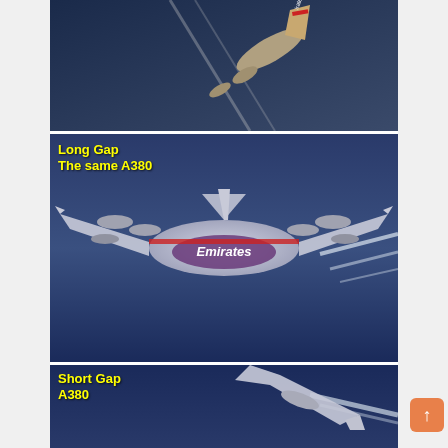[Figure (photo): Bottom view of an Emirates aircraft (A380) photographed from below against a dark blue sky, with contrails visible. Aircraft tail and engines visible.]
[Figure (photo): Bottom view of an Emirates A380 aircraft in flight with long gap contrails trailing from engines against a blue sky. Yellow text overlay reads 'Long Gap / The same A380'.]
Long Gap
The same A380
[Figure (photo): Partial bottom view of an aircraft with short gap contrails against a blue sky. Yellow text overlay reads 'Short Gap / A380'.]
Short Gap
A380